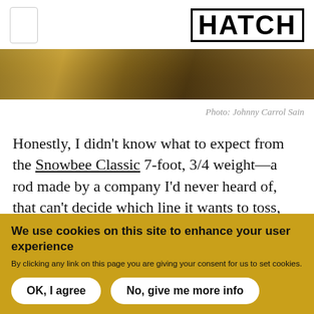[Figure (logo): HATCH logo in bold block letters with border, and a small white rectangle placeholder on the left]
[Figure (photo): Narrow panoramic outdoor nature photo, appears to show reeds or grass in warm golden tones]
Photo: Johnny Carrol Sain
Honestly, I didn't know what to expect from the Snowbee Classic 7-foot, 3/4 weight—a rod made by a company I'd never heard of, that can't decide which line it wants to toss, and is the most affordable
We use cookies on this site to enhance your user experience
By clicking any link on this page you are giving your consent for us to set cookies.
OK, I agree
No, give me more info